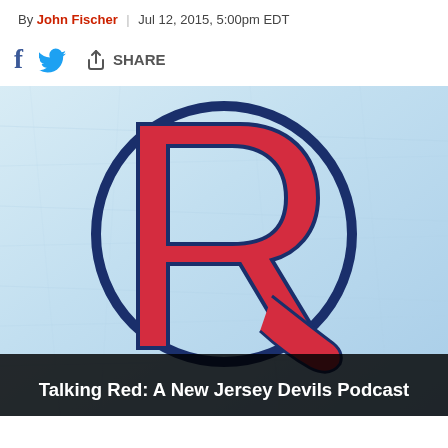By John Fischer | Jul 12, 2015, 5:00pm EDT
[Figure (logo): Talking Red: A New Jersey Devils Podcast logo — large red stylized R on ice-blue background inside a dark blue circle, with text 'Talking Red: A New Jersey Devils Podcast' at the bottom]
Talking Red: A New Jersey Devils Podcast